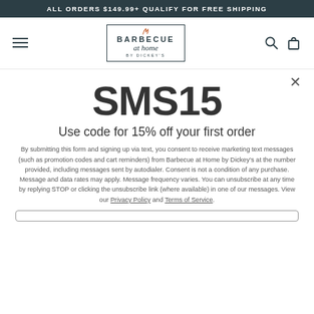ALL ORDERS $149.99+ QUALIFY FOR FREE SHIPPING
[Figure (logo): Barbecue at Home by Dickey's logo with flame icon inside a rectangular border]
SMS15
Use code for 15% off your first order
By submitting this form and signing up via text, you consent to receive marketing text messages (such as promotion codes and cart reminders) from Barbecue at Home by Dickey’s at the number provided, including messages sent by autodialer. Consent is not a condition of any purchase. Message and data rates may apply. Message frequency varies. You can unsubscribe at any time by replying STOP or clicking the unsubscribe link (where available) in one of our messages. View our Privacy Policy and Terms of Service.